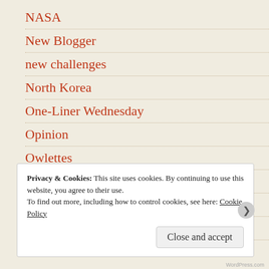NASA
New Blogger
new challenges
North Korea
One-Liner Wednesday
Opinion
Owlettes
personal
Poetry
Politics
Privacy & Cookies: This site uses cookies. By continuing to use this website, you agree to their use. To find out more, including how to control cookies, see here: Cookie Policy
Close and accept